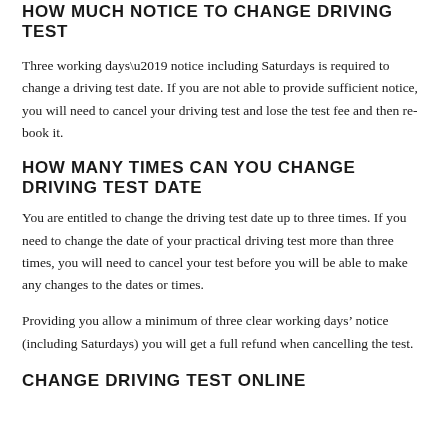HOW MUCH NOTICE TO CHANGE DRIVING TEST
Three working days’ notice including Saturdays is required to change a driving test date. If you are not able to provide sufficient notice, you will need to cancel your driving test and lose the test fee and then re-book it.
HOW MANY TIMES CAN YOU CHANGE DRIVING TEST DATE
You are entitled to change the driving test date up to three times. If you need to change the date of your practical driving test more than three times, you will need to cancel your test before you will be able to make any changes to the dates or times.
Providing you allow a minimum of three clear working days’ notice (including Saturdays) you will get a full refund when cancelling the test.
CHANGE DRIVING TEST ONLINE